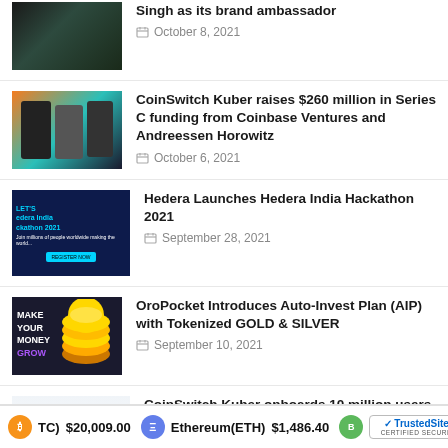[Figure (photo): Dark green/black photo (partial view, top cropped) — appears to be a person or scene with dark tones]
Singh as its brand ambassador
October 8, 2021
[Figure (photo): Three people posing — orange and teal background, CoinSwitch Kuber founders]
CoinSwitch Kuber raises $260 million in Series C funding from Coinbase Ventures and Andreessen Horowitz
October 6, 2021
[Figure (photo): Dark blue banner: Hedera India Hackathon 2021]
Hedera Launches Hedera India Hackathon 2021
September 28, 2021
[Figure (photo): Dark background with MAKE YOUR MONEY GROW text and gold coin stack illustration]
OroPocket Introduces Auto-Invest Plan (AIP) with Tokenized GOLD & SILVER
September 10, 2021
[Figure (screenshot): CoinSwitch Kuber platform screenshot with mobile device graphic]
CoinSwitch Kuber onboards 10 million users to become one of India's largest crypto platforms
September 9, 2021
(BTC) $20,009.00   Ethereum(ETH) $1,486.40   TrustedSite CERTIFIED SECURE